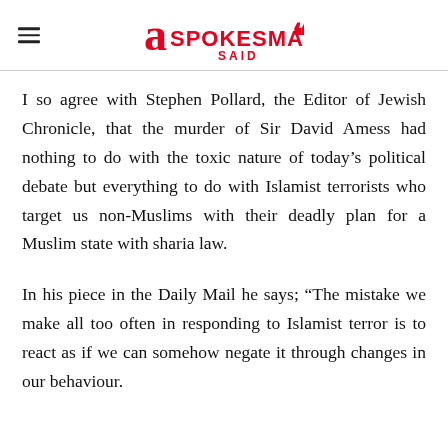A Spokesman Said
I so agree with Stephen Pollard, the Editor of Jewish Chronicle, that the murder of Sir David Amess had nothing to do with the toxic nature of today’s political debate but everything to do with Islamist terrorists who target us non-Muslims with their deadly plan for a Muslim state with sharia law.
In his piece in the Daily Mail he says; “The mistake we make all too often in responding to Islamist terror is to react as if we can somehow negate it through changes in our behaviour.